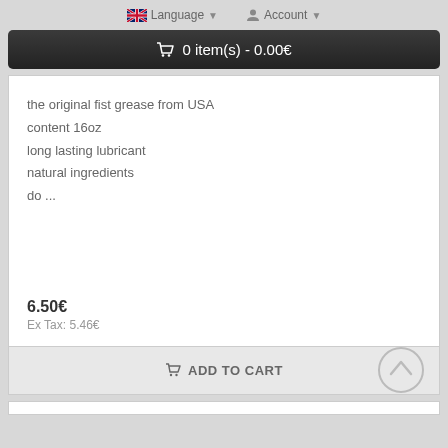Language  Account
0 item(s) - 0.00€
the original fist grease from USA
content 16oz
long lasting lubricant
natural ingredients
do ...
6.50€
Ex Tax: 5.46€
ADD TO CART